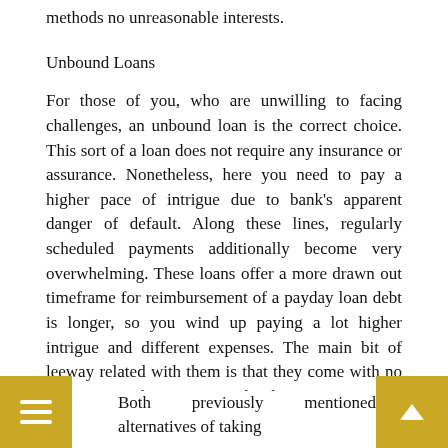methods no unreasonable interests.
Unbound Loans
For those of you, who are unwilling to facing challenges, an unbound loan is the correct choice. This sort of a loan does not require any insurance or assurance. Nonetheless, here you need to pay a higher pace of intrigue due to bank's apparent danger of default. Along these lines, regularly scheduled payments additionally become very overwhelming. These loans offer a more drawn out timeframe for reimbursement of a payday loan debt is longer, so you wind up paying a lot higher intrigue and different expenses. The main bit of leeway related with them is that they come with no security. In this way, simply do not stress over losing a property or different resources.
Both previously mentioned alternatives of taking